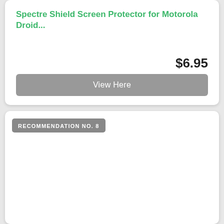Spectre Shield Screen Protector for Motorola Droid...
$6.95
View Here
RECOMMENDATION NO. 8
[Figure (photo): Black car charger with USB port with red ring light and FONUS branding, with attached micro USB cable connector]